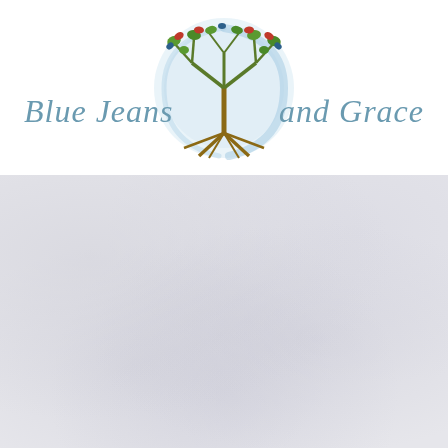[Figure (logo): Blue Jeans and Grace logo featuring a decorative tree with green, red, and blue leaves inside a light blue circular swirl, with the brand name 'Blue Jeans and Grace' in italic teal/blue typography flanking the tree emblem]
[Figure (other): Light grey/lavender textured background area filling the lower portion of the page, resembling paper or fabric texture with subtle variations]